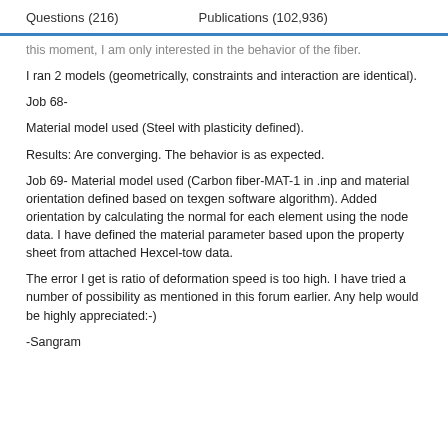Questions (216)    Publications (102,936)
this moment, I am only interested in the behavior of the fiber.
I ran 2 models (geometrically, constraints and interaction are identical).
Job 68-
Material model used (Steel with plasticity defined).
Results: Are converging. The behavior is as expected.
Job 69- Material model used (Carbon fiber-MAT-1 in .inp and material orientation defined based on texgen software algorithm). Added orientation by calculating the normal for each element using the node data. I have defined the material parameter based upon the property sheet from attached Hexcel-tow data.
The error I get is ratio of deformation speed is too high. I have tried a number of possibility as mentioned in this forum earlier. Any help would be highly appreciated:-)
-Sangram